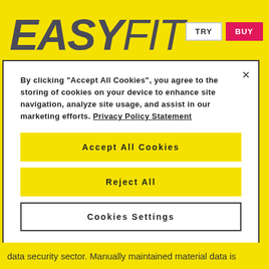[Figure (logo): EasyFit logo with bold italic EASY and regular italic FIT text in dark gray on yellow background, with TRY and BUY buttons]
By clicking "Accept All Cookies", you agree to the storing of cookies on your device to enhance site navigation, analyze site usage, and assist in our marketing efforts. Privacy Policy Statement
Accept All Cookies
Reject All
Cookies Settings
data security sector. Manually maintained material data is